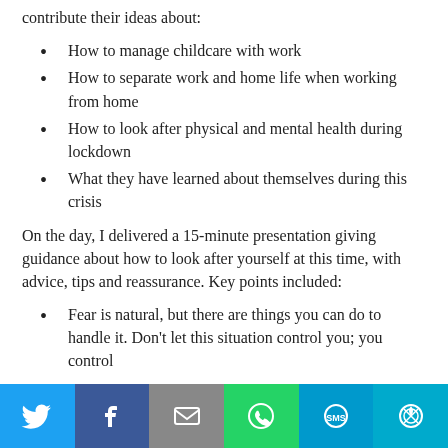We also posed questions in advance so people could contribute their ideas about:
How to manage childcare with work
How to separate work and home life when working from home
How to look after physical and mental health during lockdown
What they have learned about themselves during this crisis
On the day, I delivered a 15-minute presentation giving guidance about how to look after yourself at this time, with advice, tips and reassurance. Key points included:
Fear is natural, but there are things you can do to handle it. Don't let this situation control you; you control
Social share bar: Twitter, Facebook, Email, WhatsApp, SMS, More